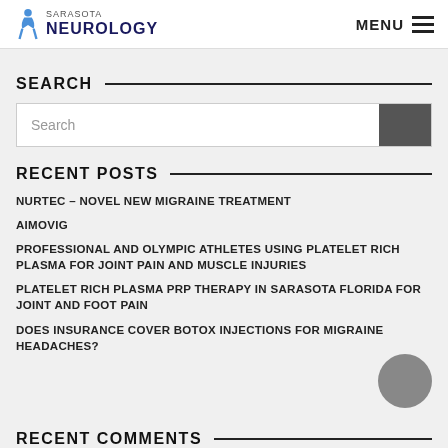Sarasota NEUROLOGY — MENU
SEARCH
Search
RECENT POSTS
NURTEC – NOVEL NEW MIGRAINE TREATMENT
AIMOVIG
PROFESSIONAL AND OLYMPIC ATHLETES USING PLATELET RICH PLASMA FOR JOINT PAIN AND MUSCLE INJURIES
PLATELET RICH PLASMA PRP THERAPY IN SARASOTA FLORIDA FOR JOINT AND FOOT PAIN
DOES INSURANCE COVER BOTOX INJECTIONS FOR MIGRAINE HEADACHES?
RECENT COMMENTS